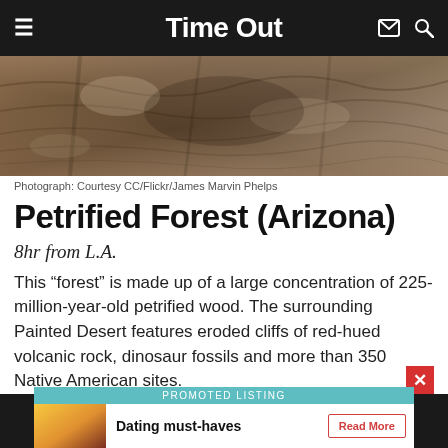Time Out
[Figure (photo): Rocky eroded landscape of the Petrified Forest/Painted Desert in Arizona showing layered sedimentary rock formations in brown and grey hues]
Photograph: Courtesy CC/Flickr/James Marvin Phelps
Petrified Forest (Arizona)
8hr from L.A.
This “forest” is made up of a large concentration of 225-million-year-old petrified wood. The surrounding Painted Desert features eroded cliffs of red-hued volcanic rock, dinosaur fossils and more than 350 Native American sites.
PROMOTED LISTING
Dating must-haves
Read More